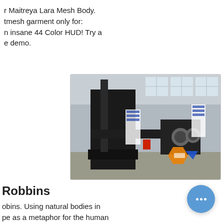r Maitreya Lara Mesh Body. tmesh garment only for: n insane 44 Color HUD! Try a e demo.
[Figure (photo): Industrial machine in a factory or workshop setting. A large black metal machine/equipment is visible in the foreground of a spacious industrial hall with windows and white walls. An orange and blue logo/watermark is overlaid in the bottom right corner.]
Robbins
obins. Using natural bodies in pe as a metaphor for the human e portraits of places using site-